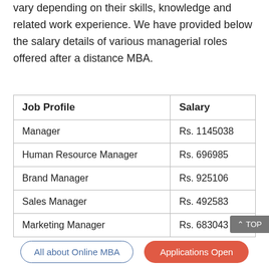vary depending on their skills, knowledge and related work experience. We have provided below the salary details of various managerial roles offered after a distance MBA.
| Job Profile | Salary |
| --- | --- |
| Manager | Rs. 1145038 |
| Human Resource Manager | Rs. 696985 |
| Brand Manager | Rs. 925106 |
| Sales Manager | Rs. 492583 |
| Marketing Manager | Rs. 683043 |
^ TOP
All about Online MBA
Applications Open